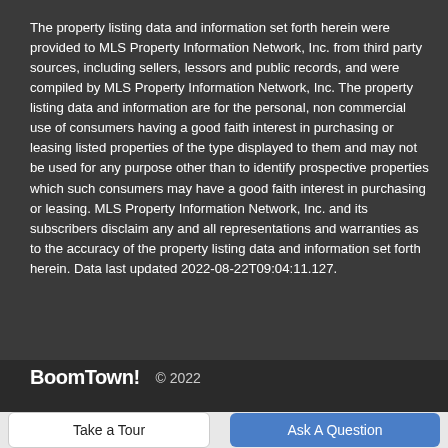The property listing data and information set forth herein were provided to MLS Property Information Network, Inc. from third party sources, including sellers, lessors and public records, and were compiled by MLS Property Information Network, Inc. The property listing data and information are for the personal, non commercial use of consumers having a good faith interest in purchasing or leasing listed properties of the type displayed to them and may not be used for any purpose other than to identify prospective properties which such consumers may have a good faith interest in purchasing or leasing. MLS Property Information Network, Inc. and its subscribers disclaim any and all representations and warranties as to the accuracy of the property listing data and information set forth herein. Data last updated 2022-08-22T09:04:11.127.
BoomTown!  © 2022